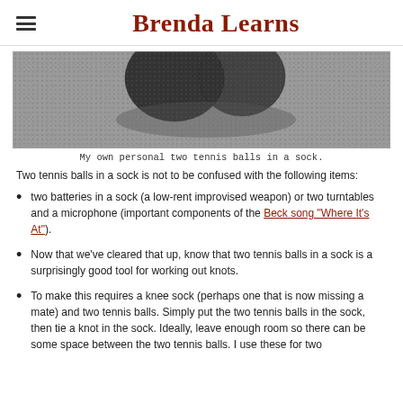Brenda Learns
[Figure (photo): Close-up photo of two tennis balls in a black sock on a dotted/textured surface, viewed from above. The balls create two round bumps visible through the sock fabric.]
My own personal two tennis balls in a sock.
Two tennis balls in a sock is not to be confused with the following items:
two batteries in a sock (a low-rent improvised weapon) or two turntables and a microphone (important components of the Beck song "Where It's At").
Now that we've cleared that up, know that two tennis balls in a sock is a surprisingly good tool for working out knots.
To make this requires a knee sock (perhaps one that is now missing a mate) and two tennis balls. Simply put the two tennis balls in the sock, then tie a knot in the sock. Ideally, leave enough room so there can be some space between the two tennis balls. I use these for two